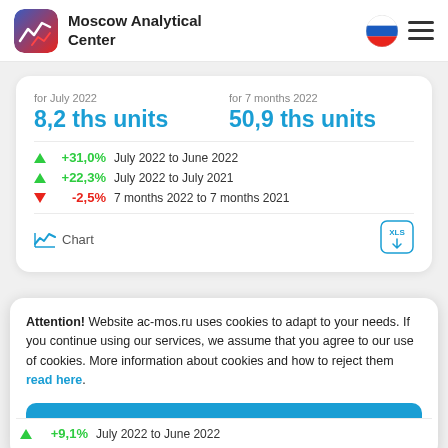Moscow Analytical Center
for July 2022
8,2 ths units
for 7 months 2022
50,9 ths units
+31,0% July 2022 to June 2022
+22,3% July 2022 to July 2021
-2,5% 7 months 2022 to 7 months 2021
Chart
Attention! Website ac-mos.ru uses cookies to adapt to your needs. If you continue using our services, we assume that you agree to our use of cookies. More information about cookies and how to reject them read here.
Accept
+9,1% July 2022 to June 2022